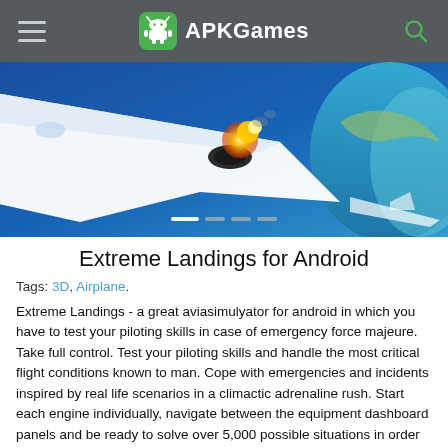APKGames
[Figure (screenshot): Hero image showing an airplane in flight over ocean, with explosion/fire effect, blue sky background. Carousel dot indicators below.]
Extreme Landings for Android
Tags: 3D, Airplane.
Extreme Landings - a great aviasimulyator for android in which you have to test your piloting skills in case of emergency force majeure. Take full control. Test your piloting skills and handle the most critical flight conditions known to man. Cope with emergencies and incidents inspired by real life scenarios in a climactic adrenaline rush. Start each engine individually, navigate between the equipment dashboard panels and be ready to solve over 5,000 possible situations in order to reach the highest pilot ranking. The simulator includes 36 missions to